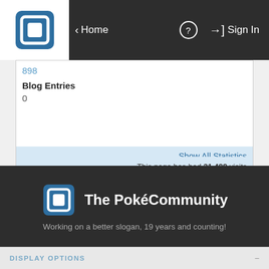Home | ? | Sign In
898
Blog Entries
0
Show All Statistics
Recent Visitors
The last 30 visitor(s) to this page were:
ActuallyOli Agent12 Aquacorde Brolaire BUNCHY76 capricornus99 Daisuke Mitsuharu Dragon Dusk FizzyOx Fletchling Foxrally Hyzenthlay IcyIce Kana Karl Kung Fu Ferret la vie en rose Marcangeloanaya123 Mizumanta Ninetales Pixel_Platinum Quicksand. Ray Maverick Roni Sapphire Rose Shak ShinyDiamond Sonata Stinging Bea
This page has had 31,499 visits
The PokéCommunity
Working on a better slogan, 19 years and counting!
DISPLAY OPTIONS